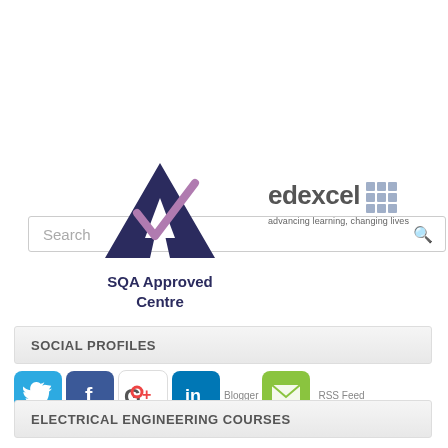[Figure (screenshot): Search bar with placeholder text 'Search' and a magnifying glass icon on the right]
[Figure (logo): SQA Approved Centre logo: dark blue letter A with a purple/mauve checkmark, and text 'SQA Approved Centre' below]
[Figure (logo): Edexcel logo: grey 'edexcel' text with a 3x3 grid of blue squares, tagline 'advancing learning, changing lives']
SOCIAL PROFILES
[Figure (screenshot): Social media icons: Twitter (blue bird), Facebook (blue f), Google+ (colorful G+), LinkedIn (blue in), Blogger (text placeholder), Email (green envelope), RSS Feed (text placeholder)]
ELECTRICAL ENGINEERING COURSES